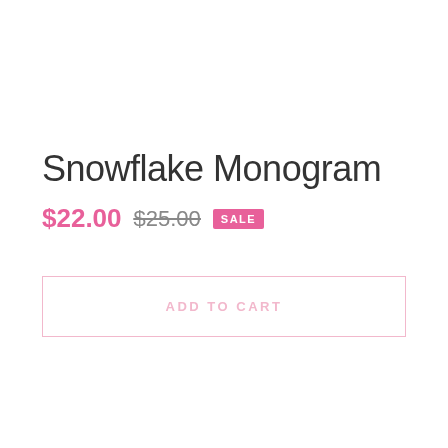Snowflake Monogram
$22.00 $25.00 SALE
ADD TO CART